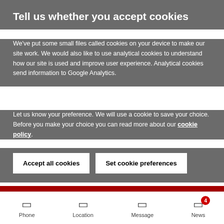Tell us whether you accept cookies
We've put some small files called cookies on your device to make our site work. We would also like to use analytical cookies to understand how our site is used and improve user experience. Analytical cookies send information to Google Analytics.
Let us know your preference. We will use a cookie to save your choice. Before you make your choice you can read more about our cookie policy.
Accept all cookies | Set cookie preferences
Important - If you have an appointment booked that you no longer need, please cancel it that we can offer it to someone else. In July 2022 there was over 28 1/2 HOURS of appointments wasted... Find out more  Dismiss
Phone  Location  Message  News